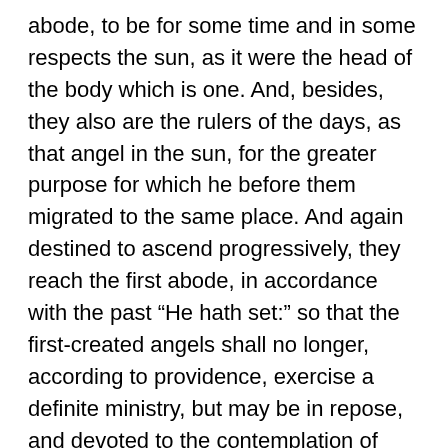abode, to be for some time and in some respects the sun, as it were the head of the body which is one. And, besides, they also are the rulers of the days, as that angel in the sun, for the greater purpose for which he before them migrated to the same place. And again destined to ascend progressively, they reach the first abode, in accordance with the past “He hath set:” so that the first-created angels shall no longer, according to providence, exercise a definite ministry, but may be in repose, and devoted to the contemplation of God alone; while those next to them shall be promoted to the post which they have left; and so those beneath them similarly.
57. There are then, according to the apostle, those on the summit, the first-created. And they